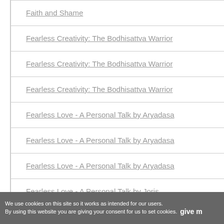Faith and Shame
Fearless Creativity: The Bodhisattva Warrior
Fearless Creativity: The Bodhisattva Warrior
Fearless Creativity: The Bodhisattva Warrior
Fearless Love - A Personal Talk by Aryadasa
Fearless Love - A Personal Talk by Aryadasa
Fearless Love - A Personal Talk by Aryadasa
Fearless Love - A Personal Talk by Joris
We use cookies on this site so it works as intended for our users. By using this website you are giving your consent for us to set cookies. give m